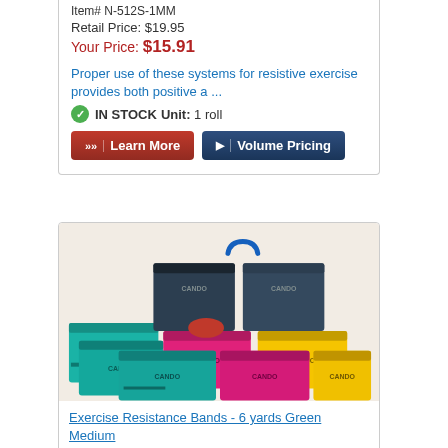Item# N-512S-1MM
Retail Price: $19.95
Your Price: $15.91
Proper use of these systems for resistive exercise provides both positive a ...
IN STOCK Unit: 1 roll
Learn More
Volume Pricing
[Figure (photo): Stack of colorful Cando exercise resistance band boxes in teal, pink, yellow, navy, and other colors]
Exercise Resistance Bands - 6 yards Green Medium
Item# NRG512BAFMM
Retail Price: $25.68
Your Price: $20.85